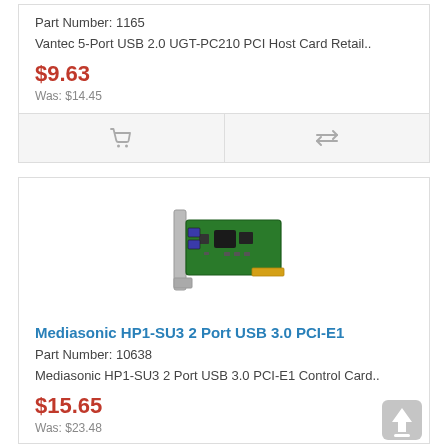Part Number: 1165
Vantec 5-Port USB 2.0 UGT-PC210 PCI Host Card Retail..
$9.63
Was: $14.45
[Figure (photo): Mediasonic HP1-SU3 2 Port USB 3.0 PCI-E1 product image showing a green PCIe card with USB 3.0 ports]
Mediasonic HP1-SU3 2 Port USB 3.0 PCI-E1
Part Number: 10638
Mediasonic HP1-SU3 2 Port USB 3.0 PCI-E1 Control Card..
$15.65
Was: $23.48